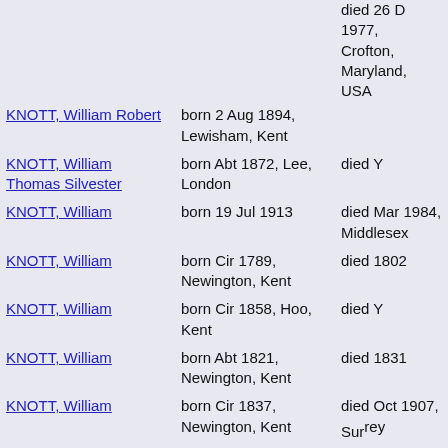KNOTT, William Robert | born 2 Aug 1894, Lewisham, Kent | died 26 Dec 1977, Crofton, Maryland, USA
KNOTT, William Thomas Silvester | born Abt 1872, Lee, London | died Y
KNOTT, William | born 19 Jul 1913 | died Mar 1984, Middlesex
KNOTT, William | born Cir 1789, Newington, Kent | died 1802
KNOTT, William | born Cir 1858, Hoo, Kent | died Y
KNOTT, William | born Abt 1821, Newington, Kent | died 1831
KNOTT, William | born Cir 1837, Newington, Kent | died Oct 1907, Surrey
KNOWLES, Aaron
KNOWLES, Albert | born 19 Dec 1887, Chelsea, | died 1970